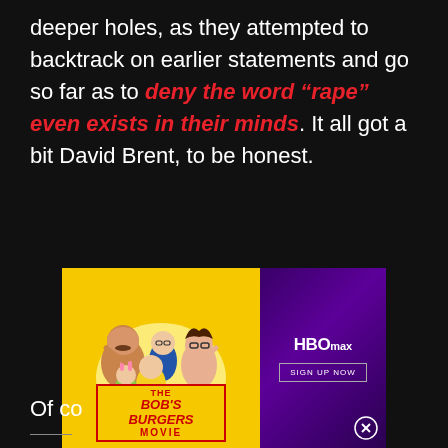deeper holes, as they attempted to backtrack on earlier statements and go so far as to deny the word “rape” even exists in their minds. It all got a bit David Brent, to be honest.
[Figure (illustration): Two-part advertisement. Left side: yellow background with Bob's Burgers Movie cartoon characters (family group) and title badge reading THE BOB'S BURGERS MOVIE. Right side: purple gradient background with HBO Max logo and SIGN UP NOW button, plus a close (X) button.]
Of co